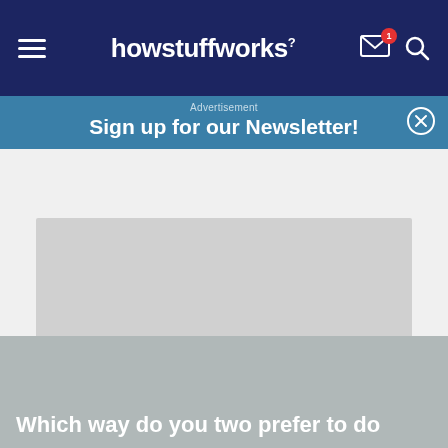howstuffworks
Advertisement
Sign up for our Newsletter!
[Figure (other): Large grey advertisement placeholder rectangle]
Which way do you two prefer to do